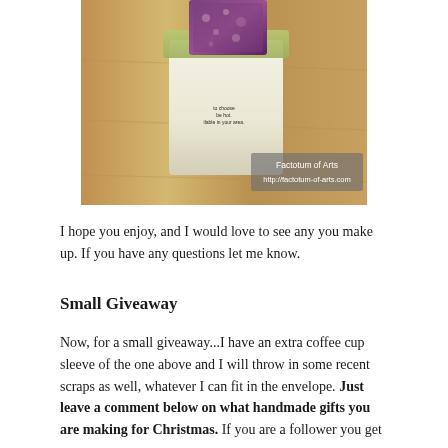[Figure (photo): A coffee cup sleeve made from fabric with a purple patchwork design, placed on a wooden surface. A watermark reads 'Factotum of Arts http://factotum-of-arts.com'.]
I hope you enjoy, and I would love to see any you make up. If you have any questions let me know.
Small Giveaway
Now, for a small giveaway...I have an extra coffee cup sleeve of the one above and I will throw in some recent scraps as well, whatever I can fit in the envelope. Just leave a comment below on what handmade gifts you are making for Christmas. If you are a follower you get a